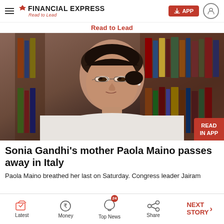Financial Express — Read to Lead
Read to Lead
[Figure (photo): Portrait photo of Sonia Gandhi, an older woman wearing glasses and a white sari, seated in front of bookshelves]
Sonia Gandhi's mother Paola Maino passes away in Italy
Paola Maino breathed her last on Saturday. Congress leader Jairam
Latest | Money | Top News | Share | NEXT STORY